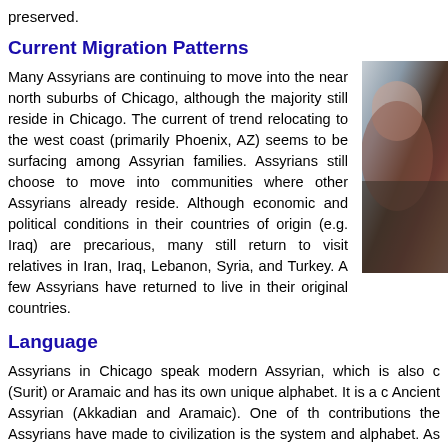preserved.
Current Migration Patterns
Many Assyrians are continuing to move into the near north suburbs of Chicago, although the majority still reside in Chicago. The current of trend relocating to the west coast (primarily Phoenix, AZ) seems to be surfacing among Assyrian families. Assyrians still choose to move into communities where other Assyrians already reside. Although economic and political conditions in their countries of origin (e.g. Iraq) are precarious, many still return to visit relatives in Iran, Iraq, Lebanon, Syria, and Turkey. A few Assyrians have returned to live in their original countries.
[Figure (photo): Portrait photograph of a person, partially visible on the right side of the page]
Language
Assyrians in Chicago speak modern Assyrian, which is also c (Surit) or Aramaic and has its own unique alphabet. It is a c Ancient Assyrian (Akkadian and Aramaic). One of th contributions the Assyrians have made to civilization is the system and alphabet. As a Semitic language, Assyrian is relate and Arabic but is distinct from and predates both. According t U.S. Census of Population and Housing (1991), the following c